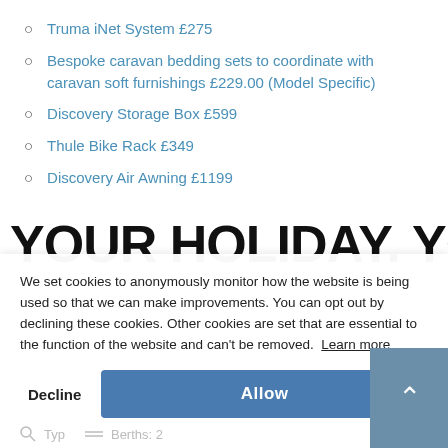Truma iNet System £275
Bespoke caravan bedding sets to coordinate with caravan soft furnishings £229.00 (Model Specific)
Discovery Storage Box £599
Thule Bike Rack £349
Discovery Air Awning £1199
YOUR HOLIDAY. YOUR WAY.
We set cookies to anonymously monitor how the website is being used so that we can make improvements. You can opt out by declining these cookies. Other cookies are set that are essential to the function of the website and can't be removed.  Learn more